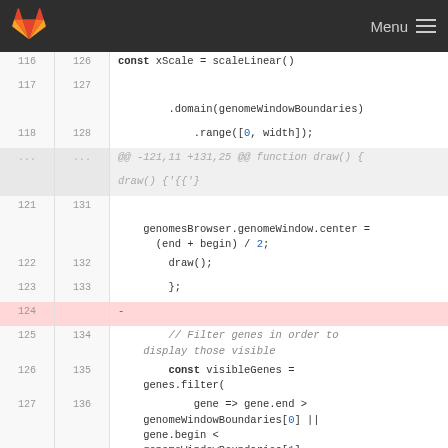GitLab — Menu
116  126    const xScale = scaleLinear()
117  127
.domain(genomeWindowBoundaries)
118  128            .range([0, width]);
...  ...   @@ -121,11 +131,25 @@ function draw() {
121  131
genomesBrowser.genomeWindow.center = (end + begin) / 2;
122  132        draw();
123  133        };
124       -
125  134        // Filter genes in order to display those visible
126  135        const visibleGenes = genes.filter(
127  136            gene => gene.end > genomeWindowBoundaries[0] || gene.begin < genomeWindowBoundaries[1]